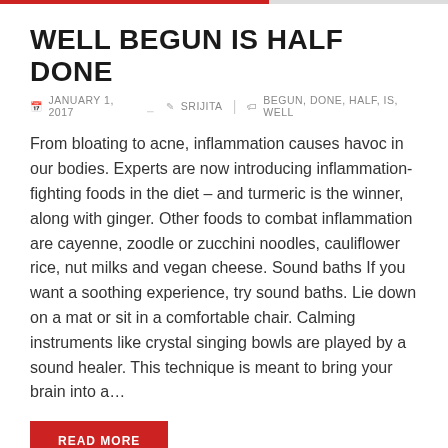WELL BEGUN IS HALF DONE
📅 JANUARY 1, 2017   👤 SRIJITA   🏷 BEGUN, DONE, HALF, IS, WELL
From bloating to acne, inflammation causes havoc in our bodies. Experts are now introducing inflammation-fighting foods in the diet – and turmeric is the winner, along with ginger. Other foods to combat inflammation are cayenne, zoodle or zucchini noodles, cauliflower rice, nut milks and vegan cheese. Sound baths If you want a soothing experience, try sound baths. Lie down on a mat or sit in a comfortable chair. Calming instruments like crystal singing bowls are played by a sound healer. This technique is meant to bring your brain into a...
READ MORE
HALF A HANDFUL OF NUTS A DAY 'REDUCES EARLY DEATH RISK'